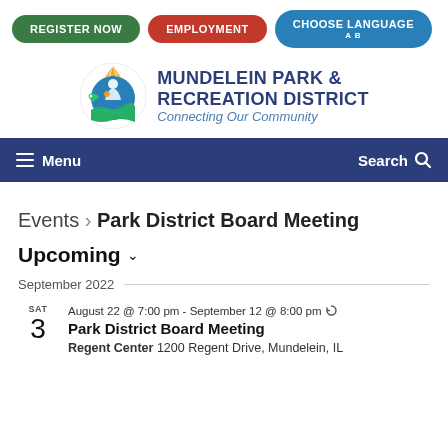[Figure (screenshot): Top navigation bar with three buttons: REGISTER NOW (green), EMPLOYMENT (red), CHOOSE LANGUAGE (blue with icons)]
[Figure (logo): Mundelein Park & Recreation District logo with colorful circular emblem showing people, fish, sun rays, and water]
MUNDELEIN PARK & RECREATION DISTRICT Connecting Our Community
Menu | Search
Events > Park District Board Meeting
Upcoming
September 2022
SAT 3 August 22 @ 7:00 pm - September 12 @ 8:00 pm
Park District Board Meeting
Regent Center 1200 Regent Drive, Mundelein, IL